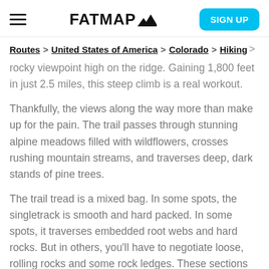FATMAP [logo] | SIGN UP
Routes > United States of America > Colorado > Hiking
rocky viewpoint high on the ridge. Gaining 1,800 feet in just 2.5 miles, this steep climb is a real workout.
Thankfully, the views along the way more than make up for the pain. The trail passes through stunning alpine meadows filled with wildflowers, crosses rushing mountain streams, and traverses deep, dark stands of pine trees.
The trail tread is a mixed bag. In some spots, the singletrack is smooth and hard packed. In some spots, it traverses embedded root webs and hard rocks. But in others, you'll have to negotiate loose, rolling rocks and some rock ledges. These sections can be a bit challenging, but should be passable by most people in good physical condition.